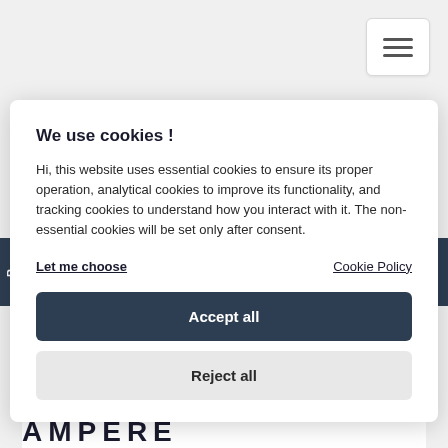[Figure (screenshot): Hamburger menu button in top right corner with three horizontal lines]
We use cookies !
Hi, this website uses essential cookies to ensure its proper operation, analytical cookies to improve its functionality, and tracking cookies to understand how you interact with it. The non-essential cookies will be set only after consent.
Let me choose
Cookie Policy
Accept all
Reject all
AMPERE